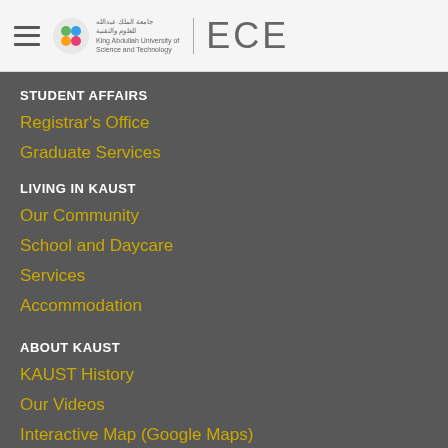ECE — King Abdullah University of Science and Technology
STUDENT AFFAIRS
Registrar's Office
Graduate Services
LIVING IN KAUST
Our Community
School and Daycare
Services
Accommodation
ABOUT KAUST
KAUST History
Our Videos
Interactive Map (Google Maps)
Interactive Map (KAUST Intranet)
KAUST Administration